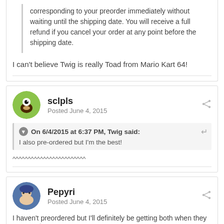corresponding to your preorder immediately without waiting until the shipping date. You will receive a full refund if you cancel your order at any point before the shipping date.
I can't believe Twig is really Toad from Mario Kart 64!
sclpls
Posted June 4, 2015
On 6/4/2015 at 6:37 PM, Twig said:
I also pre-ordered but I'm the best!
^^^^^^^^^^^^^^^^^^^^^^^^
Pepyri
Posted June 4, 2015
I haven't preordered but I'll definitely be getting both when they come out